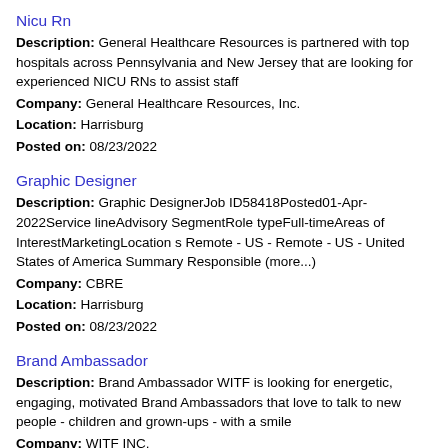Nicu Rn
Description: General Healthcare Resources is partnered with top hospitals across Pennsylvania and New Jersey that are looking for experienced NICU RNs to assist staff
Company: General Healthcare Resources, Inc.
Location: Harrisburg
Posted on: 08/23/2022
Graphic Designer
Description: Graphic DesignerJob ID58418Posted01-Apr-2022Service lineAdvisory SegmentRole typeFull-timeAreas of InterestMarketingLocation s Remote - US - Remote - US - United States of America Summary Responsible (more...)
Company: CBRE
Location: Harrisburg
Posted on: 08/23/2022
Brand Ambassador
Description: Brand Ambassador WITF is looking for energetic, engaging, motivated Brand Ambassadors that love to talk to new people - children and grown-ups - with a smile
Company: WITF INC.
Location: Harrisburg